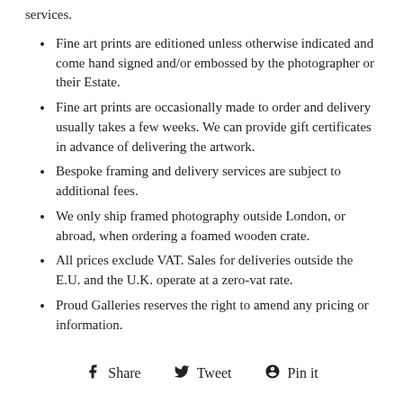services.
Fine art prints are editioned unless otherwise indicated and come hand signed and/or embossed by the photographer or their Estate.
Fine art prints are occasionally made to order and delivery usually takes a few weeks. We can provide gift certificates in advance of delivering the artwork.
Bespoke framing and delivery services are subject to additional fees.
We only ship framed photography outside London, or abroad, when ordering a foamed wooden crate.
All prices exclude VAT. Sales for deliveries outside the E.U. and the U.K. operate at a zero-vat rate.
Proud Galleries reserves the right to amend any pricing or information.
Share   Tweet   Pin it